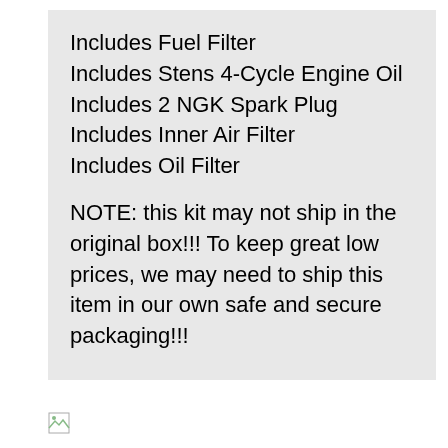Includes Fuel Filter
Includes Stens 4-Cycle Engine Oil
Includes 2 NGK Spark Plug
Includes Inner Air Filter
Includes Oil Filter
NOTE: this kit may not ship in the original box!!! To keep great low prices, we may need to ship this item in our own safe and secure packaging!!!
[Figure (other): Broken image icon at bottom left of page]